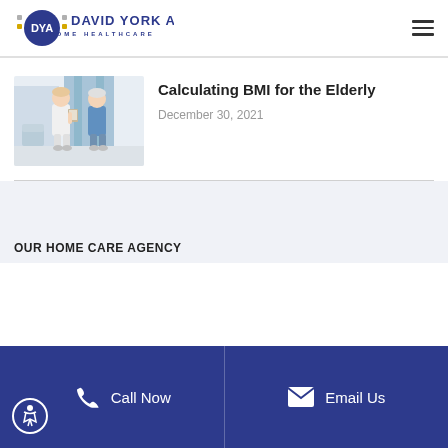DAVID YORK AGENCY HOME HEALTHCARE
Calculating BMI for the Elderly
December 30, 2021
[Figure (photo): Two women in a medical office setting — one in scrubs holding a clipboard, the other an elderly patient standing nearby]
OUR HOME CARE AGENCY
Call Now | Email Us